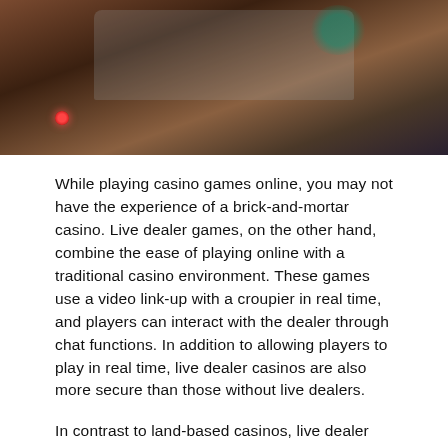[Figure (photo): Photo of a laptop with casino chips on top, partially visible, reddish-brown background with warm tones]
While playing casino games online, you may not have the experience of a brick-and-mortar casino. Live dealer games, on the other hand, combine the ease of playing online with a traditional casino environment. These games use a video link-up with a croupier in real time, and players can interact with the dealer through chat functions. In addition to allowing players to play in real time, live dealer casinos are also more secure than those without live dealers.
In contrast to land-based casinos, live dealer casinos have dedicated studios for each variant of roulette and blackjack. This means that there are more variants to choose from in each game. Furthermore, live dealers can speak different languages, which makes them more appealing to players. However, live dealers are not available in all online casinos. If this is an important consideration for you, be sure to check the software providers and customer support methods